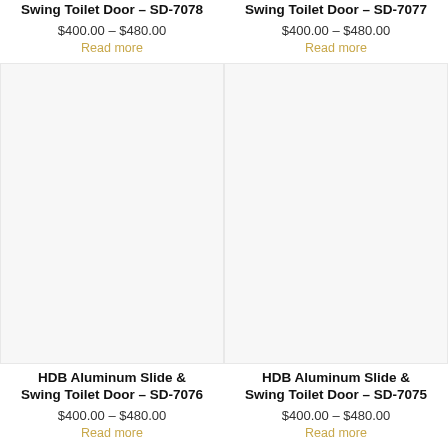Swing Toilet Door – SD-7078
$400.00 – $480.00
Read more
Swing Toilet Door – SD-7077
$400.00 – $480.00
Read more
[Figure (photo): HDB Aluminum Slide & Swing Toilet Door SD-7076 product image]
[Figure (photo): HDB Aluminum Slide & Swing Toilet Door SD-7075 product image]
HDB Aluminum Slide & Swing Toilet Door – SD-7076
$400.00 – $480.00
Read more
HDB Aluminum Slide & Swing Toilet Door – SD-7075
$400.00 – $480.00
Read more